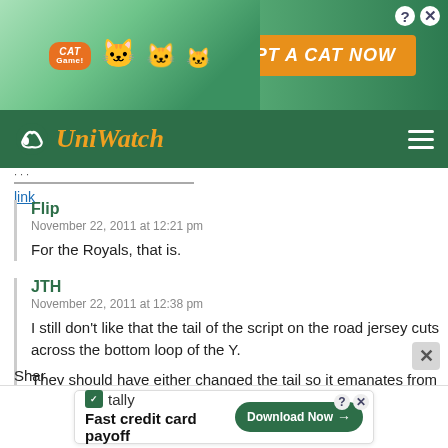[Figure (screenshot): Cat game advertisement banner with cartoon cats and 'ADOPT A CAT NOW' text on green background]
Uni Watch
link
Flip
November 22, 2011 at 12:21 pm
For the Royals, that is.
JTH
November 22, 2011 at 12:38 pm
I still don't like that the tail of the script on the road jersey cuts across the bottom loop of the Y.
They should have either changed the tail so it emanates from the Y itself (a non-looped version of the Y) or scrap the tail altogether.
Shar
[Figure (screenshot): Tally app advertisement: 'Fast credit card payoff' with Download Now button]